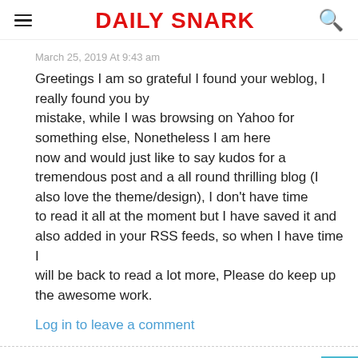Daily Snark
March 25, 2019 At 9:43 am
Greetings I am so grateful I found your weblog, I really found you by mistake, while I was browsing on Yahoo for something else, Nonetheless I am here now and would just like to say kudos for a tremendous post and a all round thrilling blog (I also love the theme/design), I don't have time to read it all at the moment but I have saved it and also added in your RSS feeds, so when I have time I will be back to read a lot more, Please do keep up the awesome work.
Log in to leave a comment
Edwin
March 25, 2019 At 11:41 am